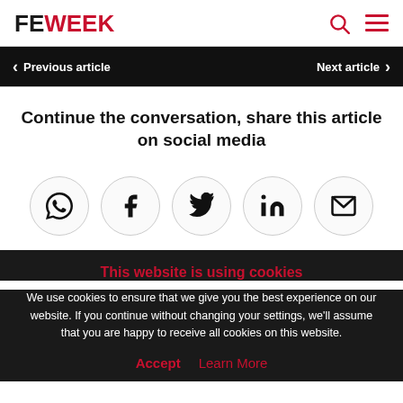FE WEEK
Previous article   Next article
Continue the conversation, share this article on social media
[Figure (infographic): Five circular social media share buttons: WhatsApp, Facebook, Twitter, LinkedIn, Email]
This website is using cookies
We use cookies to ensure that we give you the best experience on our website. If you continue without changing your settings, we'll assume that you are happy to receive all cookies on this website.
Accept   Learn More